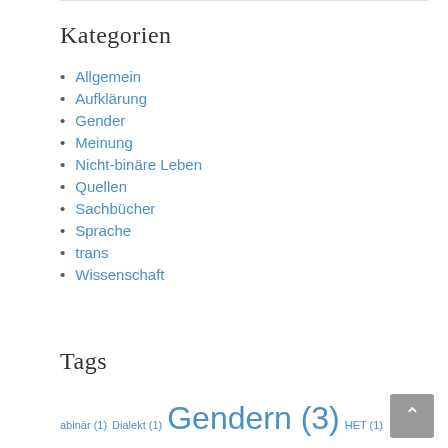Kategorien
Allgemein
Aufklärung
Gender
Meinung
Nicht-binäre Leben
Quellen
Sachbücher
Sprache
trans
Wissenschaft
Tags
abinär (1) Dialekt (1) Gendern (3) HET (1)